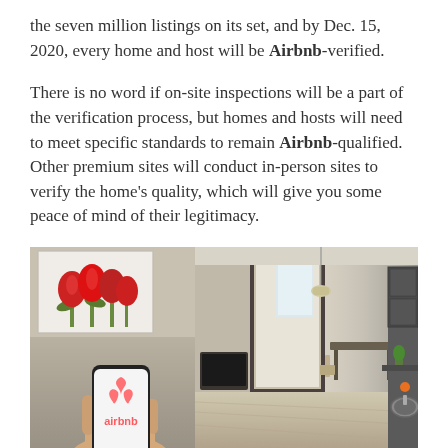the seven million listings on its set, and by Dec. 15, 2020, every home and host will be Airbnb-verified.
There is no word if on-site inspections will be a part of the verification process, but homes and hosts will need to meet specific standards to remain Airbnb-qualified. Other premium sites will conduct in-person sites to verify the home’s quality, which will give you some peace of mind of their legitimacy.
[Figure (photo): Composite photo: left side shows a hand holding a smartphone displaying the Airbnb logo against a background with red tulip painting; right side shows a bright modern apartment interior with living area, dining table, and kitchen counter.]